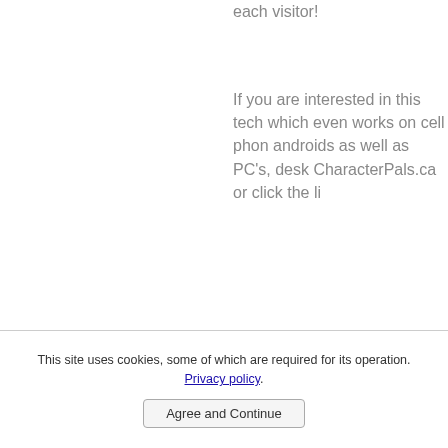each visitor!
If you are interested in this tech which even works on cell phones androids as well as PC's, desk CharacterPals.ca or click the li
This website and pages are a work in process.  *(This websit
This site uses cookies, some of which are required for its operation. Privacy policy.
Agree and Continue